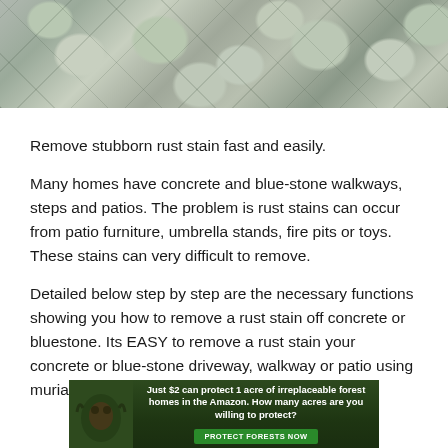[Figure (photo): Close-up photo of stone or cobblestone paving with gray stones and dark grouting between them, viewed from above at an angle.]
Remove stubborn rust stain fast and easily.
Many homes have concrete and blue-stone walkways, steps and patios. The problem is rust stains can occur from patio furniture, umbrella stands, fire pits or toys. These stains can very difficult to remove.
Detailed below step by step are the necessary functions showing you how to remove a rust stain off concrete or bluestone. Its EASY to remove a rust stain your concrete or blue-stone driveway, walkway or patio using muriatic acid.
[Figure (photo): Advertisement banner with dark green forest background showing a sloth hanging in trees. Text reads: Just $2 can protect 1 acre of irreplaceable forest homes in the Amazon. How many acres are you willing to protect? PROTECT FORESTS NOW button.]